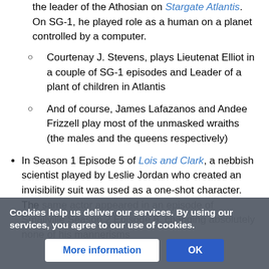Christopher Heyerdahl played the Wraith Todd and the leader of the Athosian on Stargate Atlantis. On SG-1, he played role as a human on a planet controlled by a computer.
Courtenay J. Stevens, plays Lieutenat Elliot in a couple of SG-1 episodes and Leader of a plant of children in Atlantis
And of course, James Lafazanos and Andee Frizzell play most of the unmasked wraiths (the males and the queens respectively)
In Season 1 Episode 5 of Lois and Clark, a nebbish scientist played by Leslie Jordan who created an invisibility suit was used as a one-shot character. The same actor appeared in an episode of Smallville Season 2 Episode 8, changing absolutely none of his mannerisms
Cookies help us deliver our services. By using our services, you agree to our use of cookies.